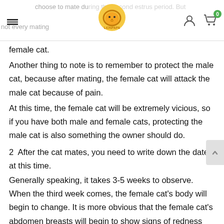LIONPAPA — navigation header with logo, hamburger menu, user icon, and cart icon (0 items)
female cat.
Another thing to note is to remember to protect the male cat, because after mating, the female cat will attack the male cat because of pain.
At this time, the female cat will be extremely vicious, so if you have both male and female cats, protecting the male cat is also something the owner should do.
2  After the cat mates, you need to write down the date at this time.
Generally speaking, it takes 3-5 weeks to observe. When the third week comes, the female cat's body will begin to change. It is more obvious that the female cat's abdomen breasts will begin to show signs of redness and swelling, and the nipples will also